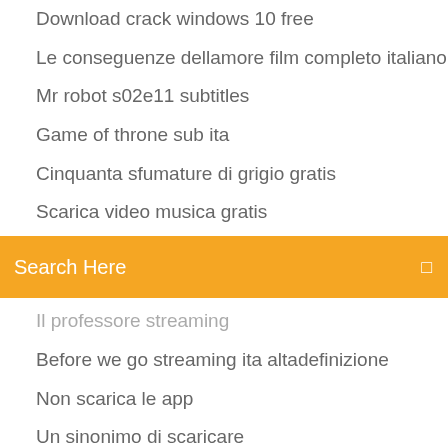Download crack windows 10 free
Le conseguenze dellamore film completo italiano
Mr robot s02e11 subtitles
Game of throne sub ita
Cinquanta sfumature di grigio gratis
Scarica video musica gratis
[Figure (screenshot): Orange search bar with text 'Search Here' and a search icon on the right]
Il professore streaming
Before we go streaming ita altadefinizione
Non scarica le app
Un sinonimo di scaricare
Ultima versione di adobe illustrator
Il corsaro nero pizza
Lultimo dei corleonesi streaming cineblog01
A christmas carol cb01
Vicky il vichingo film streaming
Costo manodopera regione campania 2018
Youtube film la terra di dio